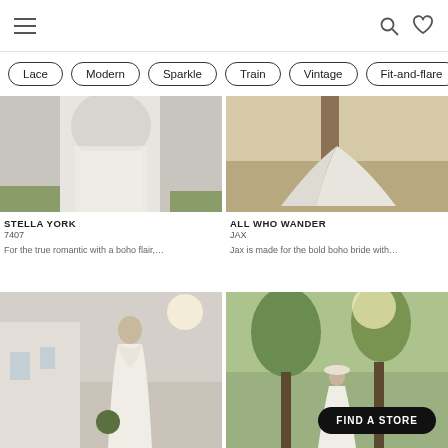Navigation header with hamburger menu, search, and wishlist icons
Lace
Modern
Sparkle
Train
Vintage
Fit-and-flare
[Figure (photo): Wedding dress train on grass – Stella York]
STELLA YORK
7407
For the true romantic with a boho flair,…
[Figure (photo): Wedding dress train on beach – All Who Wander JAX]
ALL WHO WANDER
JAX
Jax is made for the bold boho bride with…
[Figure (photo): Bride from behind showing lace back wedding dress in courtyard]
[Figure (photo): Bride in garden with trees, with Find a Store button overlay]
FIND A STORE